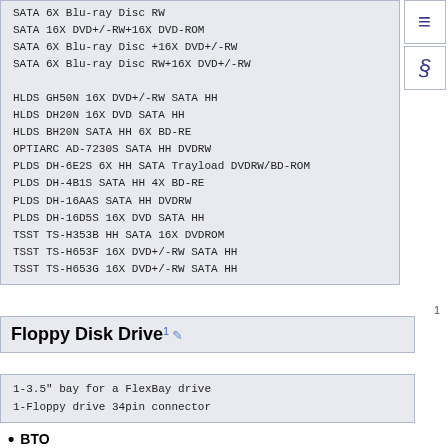SATA 6X Blu-ray Disc RW
SATA 16X DVD+/-RW+16X DVD-ROM
SATA 6X Blu-ray Disc +16X DVD+/-RW
SATA 6X Blu-ray Disc RW+16X DVD+/-RW

HLDS GH50N 16X DVD+/-RW SATA HH
HLDS DH20N 16X DVD SATA HH
HLDS BH20N SATA HH 6X BD-RE
OPTIARC AD-7230S SATA HH DVDRW
PLDS DH-6E2S 6X HH SATA Trayload DVDRW/BD-ROM
PLDS DH-4B1S SATA HH 4X BD-RE
PLDS DH-16AAS SATA HH DVDRW
PLDS DH-16D5S 16X DVD SATA HH
TSST TS-H353B HH SATA 16X DVDROM
TSST TS-H653F 16X DVD+/-RW SATA HH
TSST TS-H653G 16X DVD+/-RW SATA HH
1
Floppy Disk Drive
1-3.5" bay for a FlexBay drive
1-Floppy drive 34pin connector
BTO